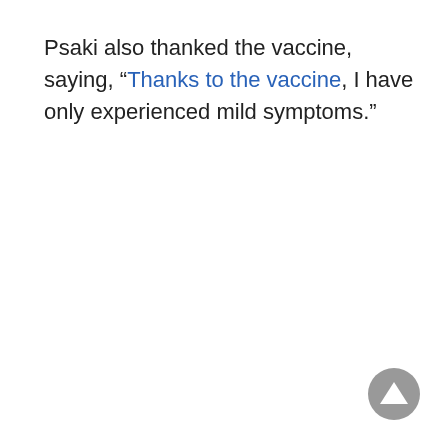Psaki also thanked the vaccine, saying, “Thanks to the vaccine, I have only experienced mild symptoms.”
[Figure (other): Gray circular scroll-to-top button with upward-pointing triangle arrow in the bottom-right corner]